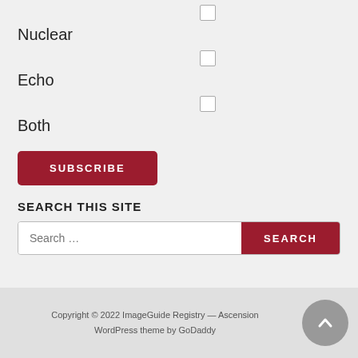Nuclear
Echo
Both
SUBSCRIBE
SEARCH THIS SITE
Search ...
Copyright © 2022 ImageGuide Registry — Ascension WordPress theme by GoDaddy